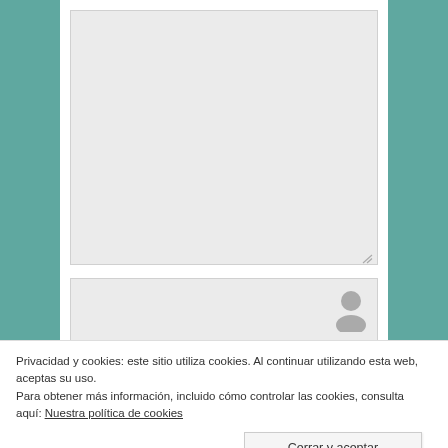[Figure (screenshot): A large gray textarea input box with a resize handle in the bottom-right corner, on a white card with teal side margins.]
[Figure (screenshot): A second gray input/comment box partially visible below the textarea, with a gray user/avatar icon in the upper-right area.]
Privacidad y cookies: este sitio utiliza cookies. Al continuar utilizando esta web, aceptas su uso.
Para obtener más información, incluido cómo controlar las cookies, consulta aquí: Nuestra política de cookies
Cerrar y aceptar